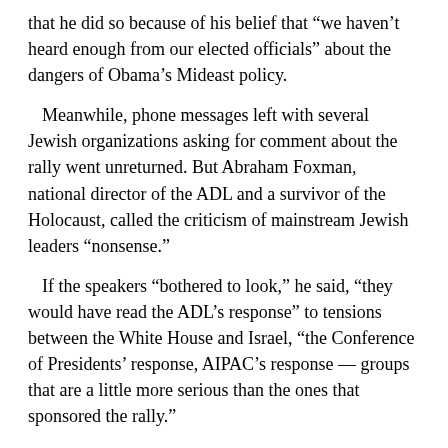that he did so because of his belief that “we haven’t heard enough from our elected officials” about the dangers of Obama’s Mideast policy.
Meanwhile, phone messages left with several Jewish organizations asking for comment about the rally went unreturned. But Abraham Foxman, national director of the ADL and a survivor of the Holocaust, called the criticism of mainstream Jewish leaders “nonsense.”
If the speakers “bothered to look,” he said, “they would have read the ADL’s response” to tensions between the White House and Israel, “the Conference of Presidents’ response, AIPAC’s response — groups that are a little more serious than the ones that sponsored the rally.”
The rally also drew criticism from David Harris, president of the National Jewish Democratic Council, who called Obama’s commitment to Israel “rock solid.”